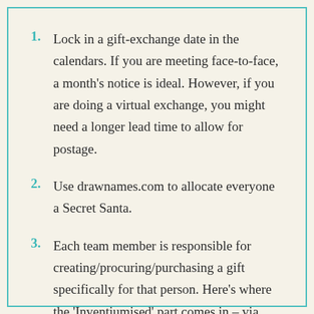1. Lock in a gift-exchange date in the calendars. If you are meeting face-to-face, a month's notice is ideal. However, if you are doing a virtual exchange, you might need a longer lead time to allow for postage.
2. Use drawnames.com to allocate everyone a Secret Santa.
3. Each team member is responsible for creating/procuring/purchasing a gift specifically for that person. Here's where the 'Inventiumised' part comes in – via these